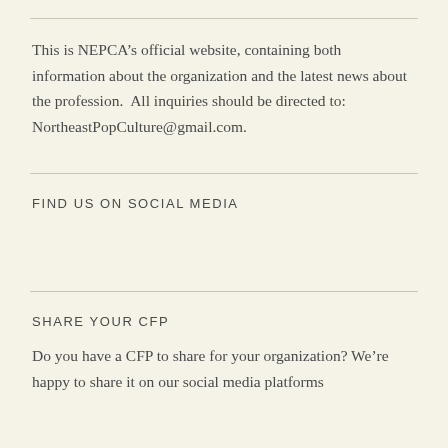This is NEPCA’s official website, containing both information about the organization and the latest news about the profession.  All inquiries should be directed to:  NortheastPopCulture@gmail.com.
FIND US ON SOCIAL MEDIA
SHARE YOUR CFP
Do you have a CFP to share for your organization? We’re happy to share it on our social media platforms